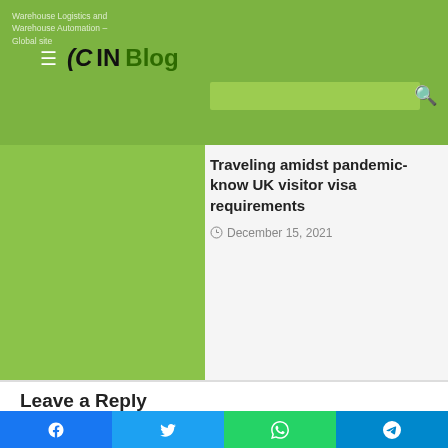Warehouse Logistics and Warehouse Automation – CIN Blog
Traveling amidst pandemic- know UK visitor visa requirements
December 15, 2021
Leave a Reply
Your email address will not be published. Required fields are marked *
Facebook Twitter WhatsApp Telegram